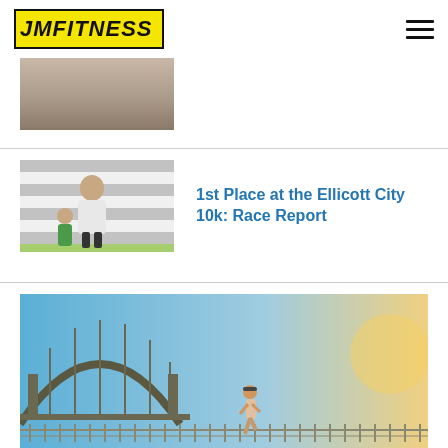[Figure (logo): JM Fitness logo — black and yellow italic bold text with border]
[Figure (photo): Partial landscape/aerial photo at top of page, sandy terrain]
[Figure (photo): Runner posing in front of checkered race backdrop with a child, holding a medal]
1st Place at the Ellicott City 10k: Race Report
[Figure (photo): Runner on a bridge with Sydney Harbour Bridge visible in background, blue sky]